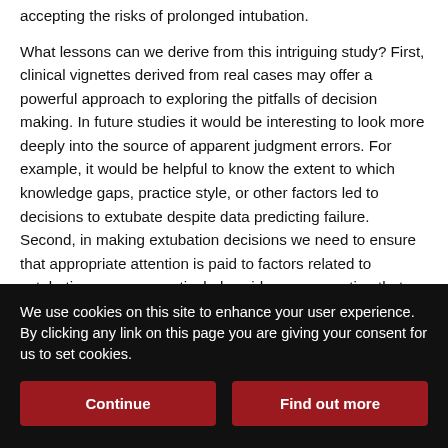accepting the risks of prolonged intubation. What lessons can we derive from this intriguing study? First, clinical vignettes derived from real cases may offer a powerful approach to exploring the pitfalls of decision making. In future studies it would be interesting to look more deeply into the source of apparent judgment errors. For example, it would be helpful to know the extent to which knowledge gaps, practice style, or other factors led to decisions to extubate despite data predicting failure. Second, in making extubation decisions we need to ensure that appropriate attention is paid to factors related to extubation success, particularly evidence suggesting that the patient can keep the airway clear.7,8,12 Third, additional work is needed to explore the potential utility of novel factors that may complement or improve upon our current diagnostic
We use cookies on this site to enhance your user experience. By clicking any link on this page you are giving your consent for us to set cookies.